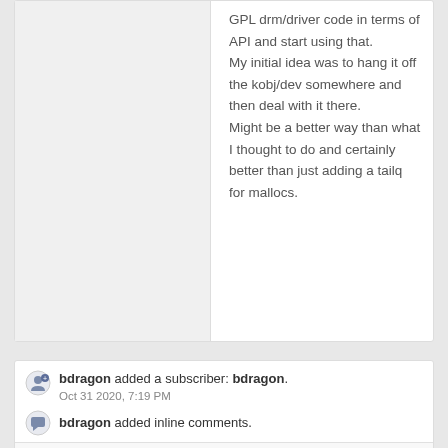GPL drm/driver code in terms of API and start using that.
My initial idea was to hang it off the kobj/dev somewhere and then deal with it there.
Might be a better way than what I thought to do and certainly better than just adding a tailq for mallocs.
bdragon added a subscriber: bdragon. Oct 31 2020, 7:19 PM
bdragon added inline comments.
sys/compat/linuxkpi/common/include/linux/pci.h
1073  (On Diff #77724)  IIRC, On POWER8 /